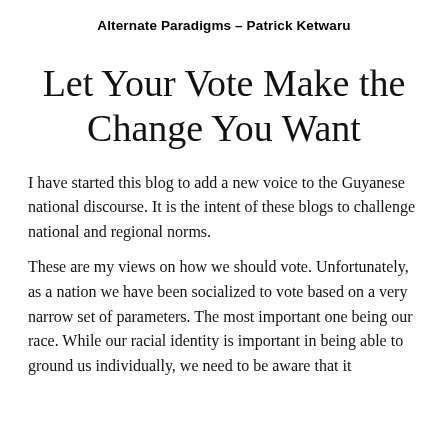Alternate Paradigms – Patrick Ketwaru
Let Your Vote Make the Change You Want
I have started this blog to add a new voice to the Guyanese national discourse. It is the intent of these blogs to challenge national and regional norms.
These are my views on how we should vote. Unfortunately, as a nation we have been socialized to vote based on a very narrow set of parameters. The most important one being our race. While our racial identity is important in being able to ground us individually, we need to be aware that it...